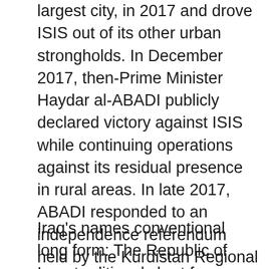largest city, in 2017 and drove ISIS out of its other urban strongholds. In December 2017, then-Prime Minister Haydar al-ABADI publicly declared victory against ISIS while continuing operations against its residual presence in rural areas. In late 2017, ABADI responded to an independence referendum held by the Kurdistan Regional Government by ordering Iraqi forces to control disputed territories across central and northern Iraq that were previously occupied and governed by Kurdish forces.
Iraq's names conventional long form: The Republic of Iraq, traditional short form: Iraq, local long form: Jumhuriyat al-Iraq/Komari